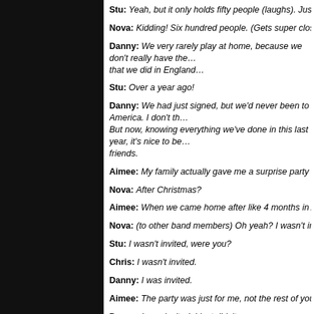Stu: Yeah, but it only holds fifty people (laughs). Just kidding.
Nova: Kidding! Six hundred people. (Gets super close to the mic on m…
Danny: We very rarely play at home, because we don't really have the… that we did in England…
Stu: Over a year ago!
Danny: We had just signed, but we'd never been to America. I don't th… But now, knowing everything we've done in this last year, it's nice to be… friends.
Aimee: My family actually gave me a surprise party when I came home…
Nova: After Christmas?
Aimee: When we came home after like 4 months in America.
Nova: (to other band members) Oh yeah? I wasn't invited. Were you in…
Stu: I wasn't invited, were you?
Chris: I wasn't invited.
Danny: I was invited.
Aimee: The party was just for me, not the rest of you!
Danny: I was invited; I just didn't go.